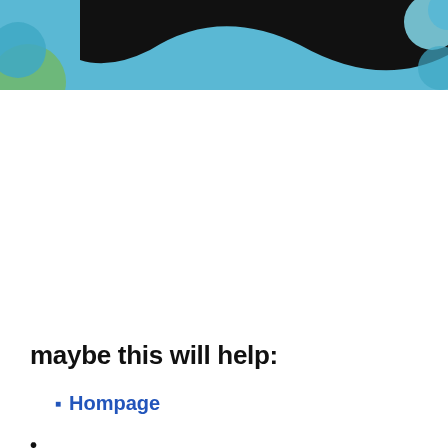[Figure (illustration): Decorative header with black wave shape and teal/green circular blobs on left and right corners against a light blue background]
maybe this will help:
Hompage
(partial, cut off at bottom)